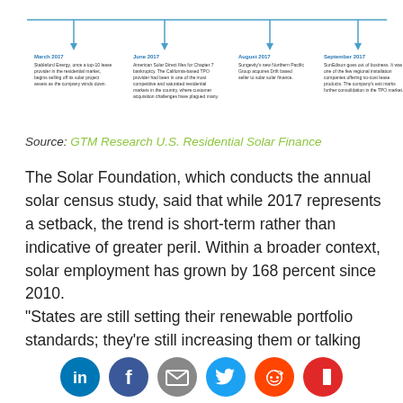[Figure (infographic): Timeline with four entries: March 2017 - Stableford Energy; June 2017 - American Solar Direct; August 2017 - Sungevity/Northern Pacific Group; September 2017 - Sunedison goes out of business. Each entry has a downward arrow from a horizontal line with a label and descriptive text.]
Source: GTM Research U.S. Residential Solar Finance
The Solar Foundation, which conducts the annual solar census study, said that while 2017 represents a setback, the trend is short-term rather than indicative of greater peril. Within a broader context, solar employment has grown by 168 percent since 2010.
“States are still setting their renewable portfolio standards; they’re still increasing them or talking about increasing them,” said Ed Gilliland, senior director of programs at The Solar Foundation. “We
[Figure (infographic): Social sharing icons row: LinkedIn (blue), Facebook (dark blue), Email (grey), Twitter (light blue), Reddit (orange-red), Flipboard (red)]